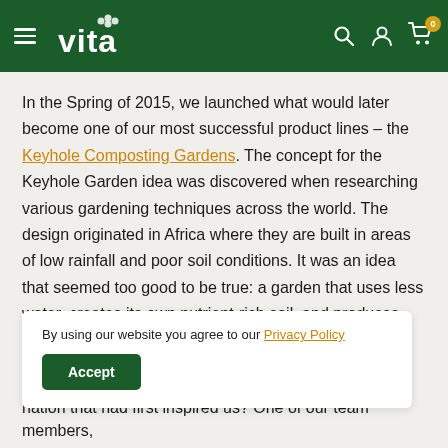vita — navigation header with hamburger menu, search, account, and cart icons
In the Spring of 2015, we launched what would later become one of our most successful product lines – the Keyhole Composting Gardens. The concept for the Keyhole Garden idea was discovered when researching various gardening techniques across the world. The design originated in Africa where they are built in areas of low rainfall and poor soil conditions. It was an idea that seemed too good to be true: a garden that uses less water, creates its own nutrient-rich soil, and produces much more food than a standard garden. After
By using our website you agree to our Privacy Policy
Accept
nation that had first inspired us? One of our team members,